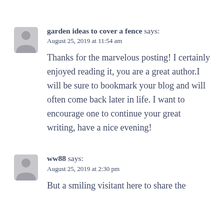[Figure (illustration): Generic user avatar icon (grey silhouette of a person)]
garden ideas to cover a fence says:
August 25, 2019 at 11:54 am

Thanks for the marvelous posting! I certainly enjoyed reading it, you are a great author.I will be sure to bookmark your blog and will often come back later in life. I want to encourage one to continue your great writing, have a nice evening!
[Figure (illustration): Generic user avatar icon (grey silhouette of a person)]
ww88 says:
August 25, 2019 at 2:30 pm

But a smiling visitant here to share the